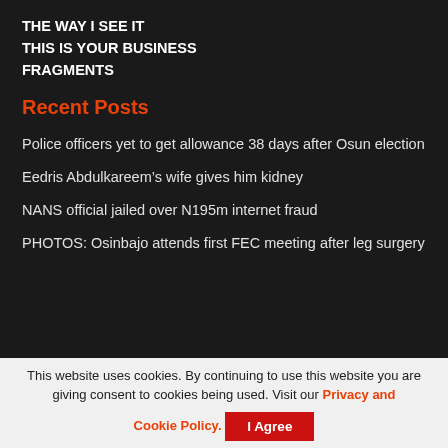THE WAY I SEE IT
THIS IS YOUR BUSINESS
FRAGMENTS
Recent Posts
Police officers yet to get allowance 38 days after Osun election
Eedris Abdulkareem’s wife gives him kidney
NANS official jailed over N195m internet fraud
PHOTOS: Osinbajo attends first FEC meeting after leg surgery
This website uses cookies. By continuing to use this website you are giving consent to cookies being used. Visit our Privacy and Cookie Policy.
I Agree